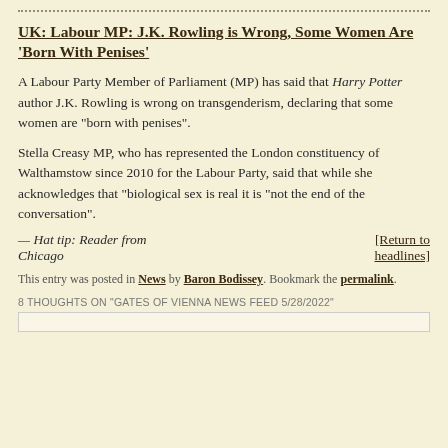UK: Labour MP: J.K. Rowling is Wrong, Some Women Are 'Born With Penises'
A Labour Party Member of Parliament (MP) has said that Harry Potter author J.K. Rowling is wrong on transgenderism, declaring that some women are "born with penises".
Stella Creasy MP, who has represented the London constituency of Walthamstow since 2010 for the Labour Party, said that while she acknowledges that "biological sex is real it is "not the end of the conversation".
— Hat tip: Reader from Chicago        [Return to headlines]
This entry was posted in News by Baron Bodissey. Bookmark the permalink.
8 THOUGHTS ON "GATES OF VIENNA NEWS FEED 5/28/2022"